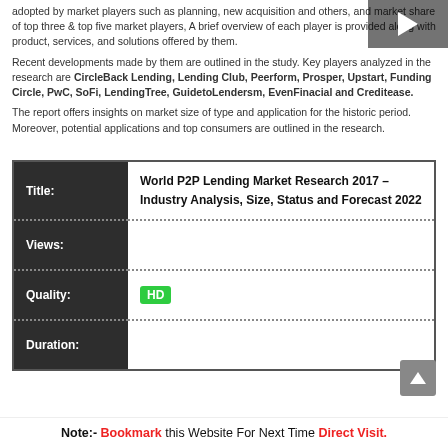adopted by market players such as planning, new acquisition and others, and market share of top three & top five market players, A brief overview of each player is provided along with product, services, and solutions offered by them.
Recent developments made by them are outlined in the study. Key players analyzed in the research are CircleBack Lending, Lending Club, Peerform, Prosper, Upstart, Funding Circle, PwC, SoFi, LendingTree, GuidetoLendersm, EvenFinacial and Creditease.
The report offers insights on market size of type and application for the historic period. Moreover, potential applications and top consumers are outlined in the research.
| Field | Value |
| --- | --- |
| Title: | World P2P Lending Market Research 2017 – Industry Analysis, Size, Status and Forecast 2022 |
| Views: |  |
| Quality: | HD |
| Duration: |  |
Note:- Bookmark this Website For Next Time Direct Visit.